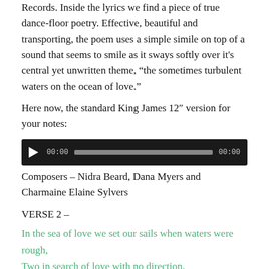Records. Inside the lyrics we find a piece of true dance-floor poetry. Effective, beautiful and transporting, the poem uses a simple simile on top of a sound that seems to smile as it sways softly over it's central yet unwritten theme, “the sometimes turbulent waters on the ocean of love.”
Here now, the standard King James 12″ version for your notes:
[Figure (other): Audio player widget with dark background, play button, time display showing 00:00, progress bar, and end time 00:00]
Composers – Nidra Beard, Dana Myers and Charmaine Elaine Sylvers
VERSE 2 –
In the sea of love we set our sails when waters were rough,
Two in search of love with no direction,